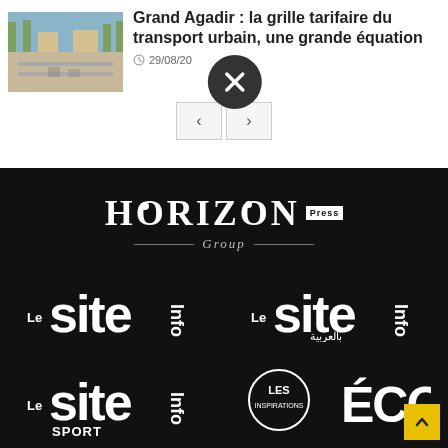[Figure (photo): Aerial/street view rendering of an urban road with palm trees and buildings]
Grand Agadir : la grille tarifaire du transport urbain, une grande équation
29/08/20
[Figure (logo): HORIZON Press Group logo in white on black background]
[Figure (logo): Le Site Info logo in white]
[Figure (logo): Le Site Info بالعربية logo in white]
[Figure (logo): Le Site Info Sport logo in white]
[Figure (logo): Les Inspirations ÉCO.ma logo in white]